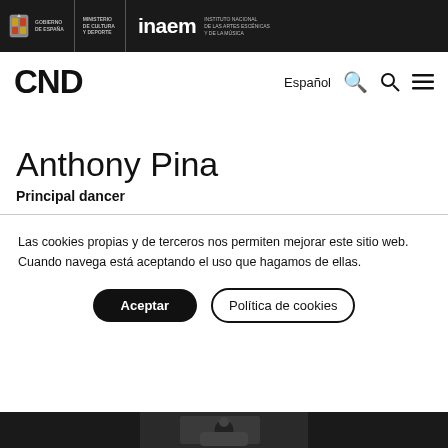Gobierno de España | Ministerio de Cultura y Deporte | inaem Instituto Nacional de las Artes Escénicas y de la Música
CND
Español
Anthony Pina
Principal dancer
Las cookies propias y de terceros nos permiten mejorar este sitio web. Cuando navega está aceptando el uso que hagamos de ellas.
Aceptar
Política de cookies
[Figure (photo): Bottom strip showing a partial black and white photograph of a person]